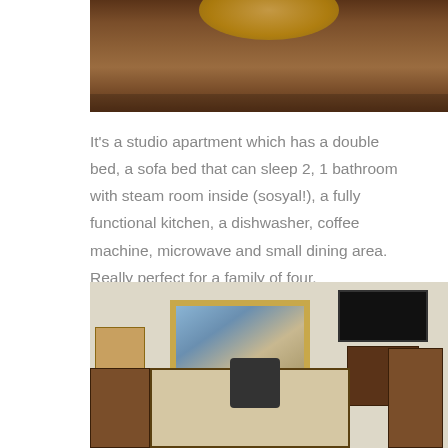[Figure (photo): Top portion of a wooden surface photo, partially cropped, showing a round plate or decorative object on a dark wood table.]
It's a studio apartment which has a double bed, a sofa bed that can sleep 2, 1 bathroom with steam room inside (sosyal!), a fully functional kitchen, a dishwasher, coffee machine, microwave and small dining area. Really perfect for a family of four.
[Figure (photo): Interior of a studio apartment showing a dining table with lace tablecloth and a child resting head on it, wooden chairs, a painting on the wall depicting two figures near the sea, a flat-screen TV on a wooden cabinet, and a lamp on the left side.]